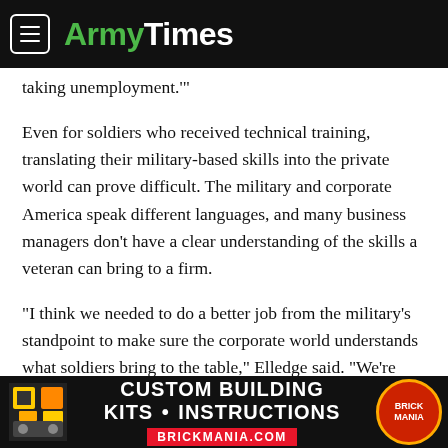ArmyTimes
taking unemployment.'"
Even for soldiers who received technical training, translating their military-based skills into the private world can prove difficult. The military and corporate America speak different languages, and many business managers don't have a clear understanding of the skills a veteran can bring to a firm.
"I think we needed to do a better job from the military's standpoint to make sure the corporate world understands what soldiers bring to the table," Elledge said. "We're getting better at telling that story."
[Figure (screenshot): Advertisement banner for Brickmania.com featuring custom building kits and instructions with dark background and red logo]